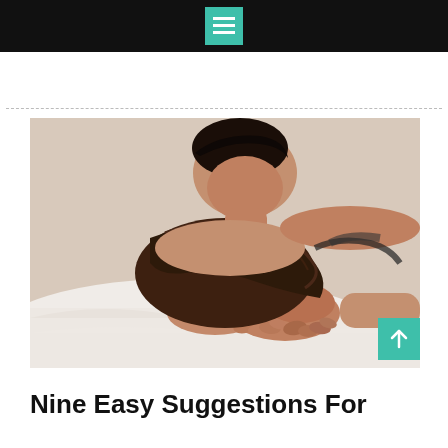[Figure (photo): A couple in an intimate embrace on white bedsheets, holding hands]
Nine Easy Suggestions For